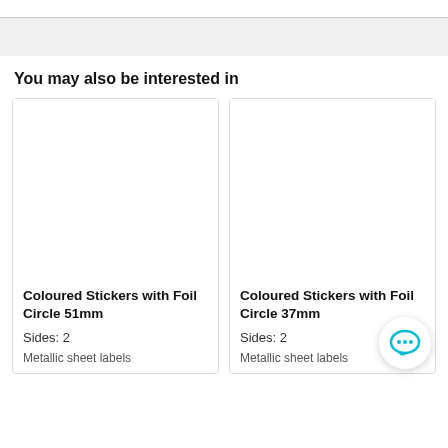You may also be interested in
Coloured Stickers with Foil Circle 51mm
Sides: 2
Metallic sheet labels
Coloured Stickers with Foil Circle 37mm
Sides: 2
Metallic sheet labels